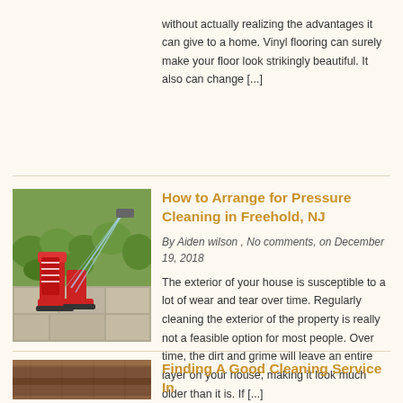without actually realizing the advantages it can give to a home. Vinyl flooring can surely make your floor look strikingly beautiful. It also can change [...]
[Figure (photo): Red rubber boots being cleaned with a pressure washer on a stone patio with green plants in background]
How to Arrange for Pressure Cleaning in Freehold, NJ
By Aiden wilson , No comments, on December 19, 2018
The exterior of your house is susceptible to a lot of wear and tear over time. Regularly cleaning the exterior of the property is really not a feasible option for most people. Over time, the dirt and grime will leave an entire layer on your house, making it look much older than it is. If [...]
[Figure (photo): Close-up of wooden floor planks or flooring surface]
Finding A Good Cleaning Service In